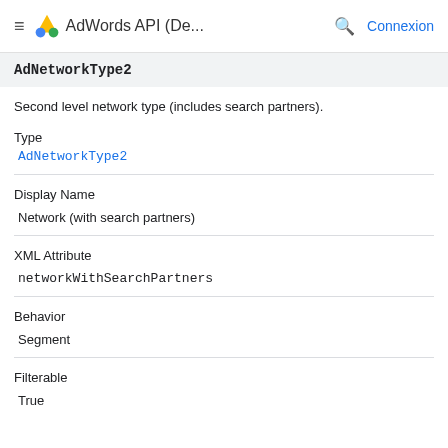AdWords API (De... Connexion
AdNetworkType2
Second level network type (includes search partners).
Type
AdNetworkType2
Display Name
Network (with search partners)
XML Attribute
networkWithSearchPartners
Behavior
Segment
Filterable
True